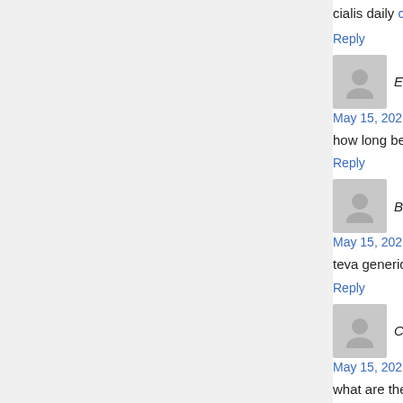cialis daily cialis goodrx taking cialis
Reply
EimlJ says:
May 15, 2021 at 6:20 pm
how long before sex should i take cialis free trial
Reply
BqvBU says:
May 15, 2021 at 9:31 pm
teva generic cialis cialis alternative over the cou
Reply
CffGV says:
May 15, 2021 at 10:08 pm
what are the side effect of cialis cialis vs.viagra
Reply
QdzJR says: